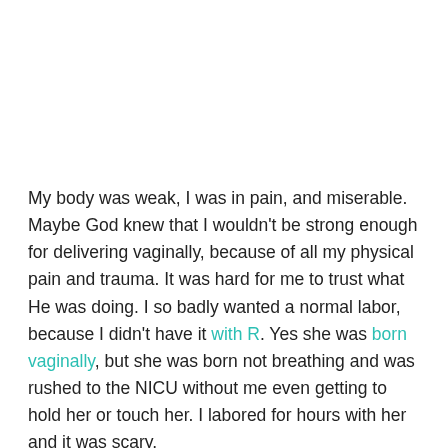My body was weak, I was in pain, and miserable. Maybe God knew that I wouldn't be strong enough for delivering vaginally, because of all my physical pain and trauma. It was hard for me to trust what He was doing. I so badly wanted a normal labor, because I didn't have it with R. Yes she was born vaginally, but she was born not breathing and was rushed to the NICU without me even getting to hold her or touch her. I labored for hours with her and it was scary.